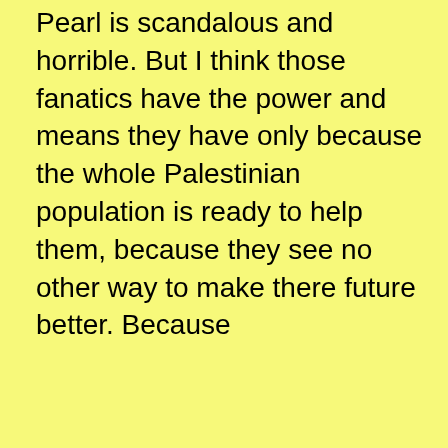Pearl is scandalous and horrible. But I think those fanatics have the power and means they have only because the whole Palestinian population is ready to help them, because they see no other way to make there future better. Because